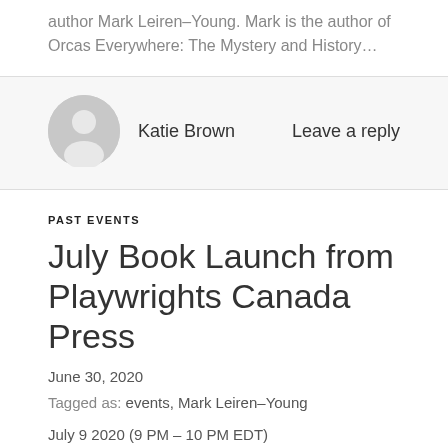author Mark Leiren–Young. Mark is the author of Orcas Everywhere: The Mystery and History…
Katie Brown
Leave a reply
PAST EVENTS
July Book Launch from Playwrights Canada Press
June 30, 2020
Tagged as: events, Mark Leiren–Young
July 9 2020 (9 PM – 10 PM EDT)